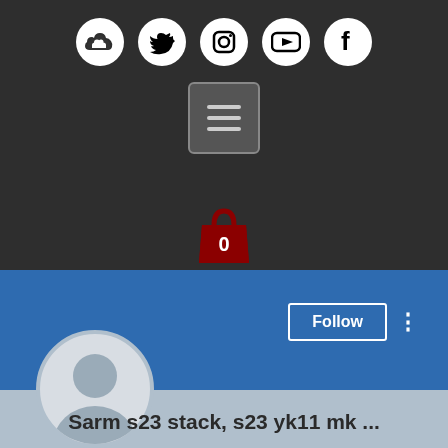[Figure (screenshot): Dark navigation bar with five social media icons (SoundCloud, Twitter, Instagram, YouTube, Facebook) displayed as white circles, a hamburger menu button below, a shopping bag icon with badge showing 0, a blue profile banner section with Follow button and three-dot menu, a user avatar circle, and a username text reading 'Sarm s23 stack, s23 yk11 mk ...']
Follow
Sarm s23 stack, s23 yk11 mk ...